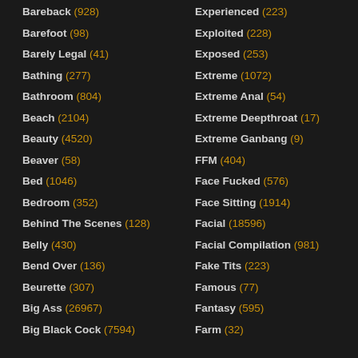Bareback (928)
Barefoot (98)
Barely Legal (41)
Bathing (277)
Bathroom (804)
Beach (2104)
Beauty (4520)
Beaver (58)
Bed (1046)
Bedroom (352)
Behind The Scenes (128)
Belly (430)
Bend Over (136)
Beurette (307)
Big Ass (26967)
Big Black Cock (7594)
Experienced (223)
Exploited (228)
Exposed (253)
Extreme (1072)
Extreme Anal (54)
Extreme Deepthroat (17)
Extreme Ganbang (9)
FFM (404)
Face Fucked (576)
Face Sitting (1914)
Facial (18596)
Facial Compilation (981)
Fake Tits (223)
Famous (77)
Fantasy (595)
Farm (32)